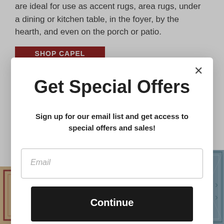are ideal for use as accent rugs, area rugs, under a dining or kitchen table, in the foyer, by the hearth, and even on the porch or patio.
SHOP CAPEL RUGS
Get Special Offers
Sign up for our email list and get access to special offers and sales!
Email
Continue
[Figure (photo): Decorative rug with floral/geometric pattern in red and tan tones]
[Figure (photo): Decorative rug in blue/grey tones with geometric border pattern]